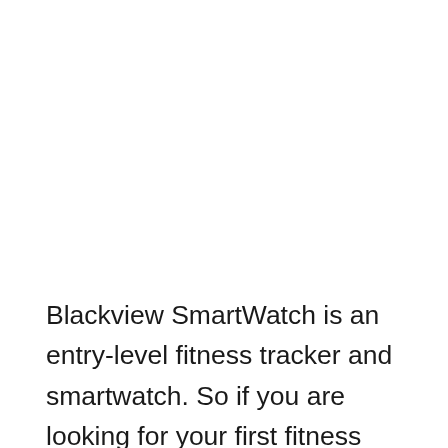Blackview SmartWatch is an entry-level fitness tracker and smartwatch. So if you are looking for your first fitness tracker, you should go for Blackview Smart Watch. It comes with a big 1.3-inch TFT-LCD color full touch screen display to give you an average viewing experience. 24/7 Heart Rate Monitor & All-day Activity Tracking will